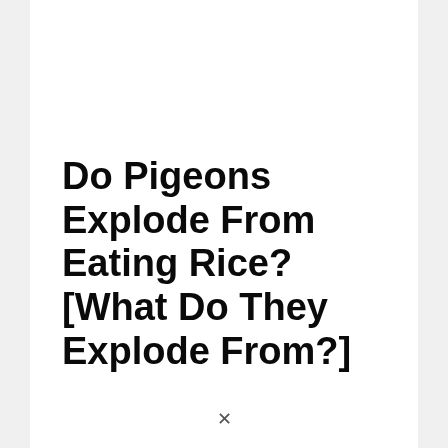Do Pigeons Explode From Eating Rice? [What Do They Explode From?]